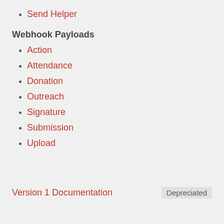Send Helper
Webhook Payloads
Action
Attendance
Donation
Outreach
Signature
Submission
Upload
Version 1 Documentation
Depreciated